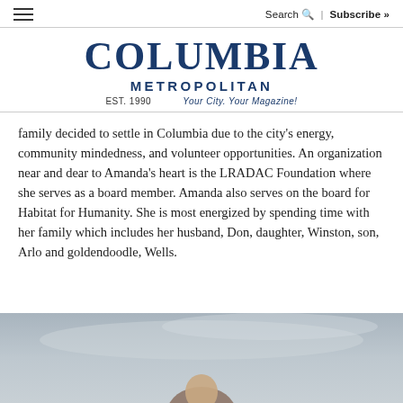Search | Subscribe »
COLUMBIA METROPOLITAN EST. 1990  Your City. Your Magazine!
family decided to settle in Columbia due to the city's energy, community mindedness, and volunteer opportunities. An organization near and dear to Amanda's heart is the LRADAC Foundation where she serves as a board member. Amanda also serves on the board for Habitat for Humanity. She is most energized by spending time with her family which includes her husband, Don, daughter, Winston, son, Arlo and goldendoodle, Wells.
[Figure (photo): Partial photo of a person, background is a muted grey-blue sky, bottom of page]